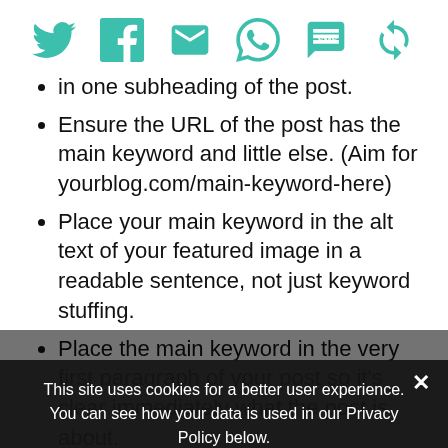[Figure (other): Social sharing icons row: Twitter, Facebook, Email, WhatsApp, SMS, another icon — all teal/green colored]
in one subheading of the post.
Ensure the URL of the post has the main keyword and little else. (Aim for yourblog.com/main-keyword-here)
Place your main keyword in the alt text of your featured image in a readable sentence, not just keyword stuffing.
Place the main keyword in the very first paragraph of your post so it's clear immediately what the post is about.
Place LSIs in other subheadings as relevant and as possible, as well as other in... scriptions.
Use even more LSIs throughout the
This site uses cookies for a better user experience. You can see how your data is used in our Privacy Policy below.
Privacy Preferences
I Agree